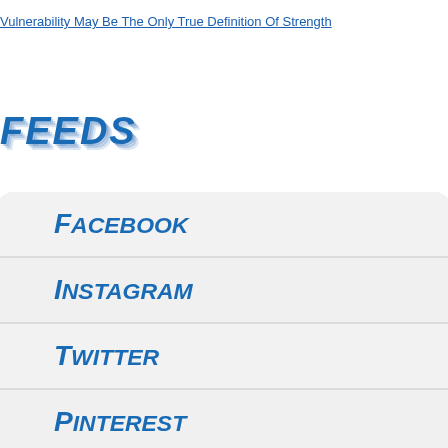Vulnerability May Be The Only True Definition Of Strength
[Figure (logo): Stylized blue italic bold text logo reading 'Feeds' with shadow/speed-line effect]
Facebook
Instagram
Twitter
Pinterest